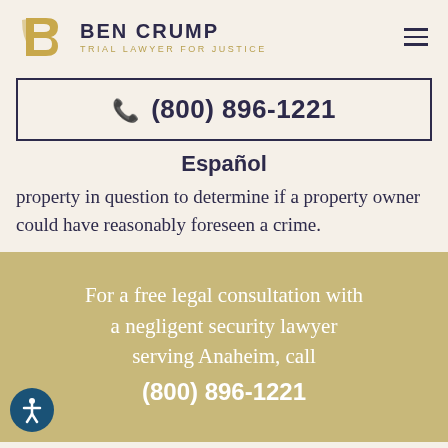[Figure (logo): Ben Crump Trial Lawyer for Justice logo with stylized BC monogram in gold and firm name in navy]
(800) 896-1221
Español
property in question to determine if a property owner could have reasonably foreseen a crime.
For a free legal consultation with a negligent security lawyer serving Anaheim, call (800) 896-1221